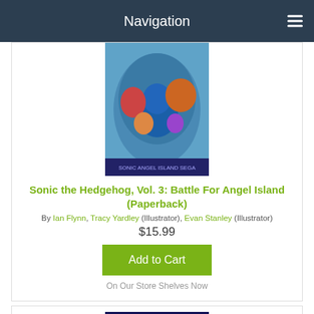Navigation
[Figure (photo): Book cover of Sonic the Hedgehog Vol. 3: Battle For Angel Island showing animated characters in action]
Sonic the Hedgehog, Vol. 3: Battle For Angel Island (Paperback)
By Ian Flynn, Tracy Yardley (Illustrator), Evan Stanley (Illustrator)
$15.99
Add to Cart
On Our Store Shelves Now
[Figure (photo): Partial book cover of Dog Man: Crime and Punishment]